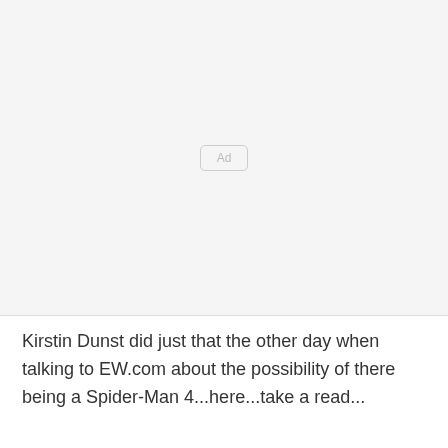[Figure (other): Advertisement placeholder box with 'Ad' label centered in a light gray area]
Kirstin Dunst did just that the other day when talking to EW.com about the possibility of there being a Spider-Man 4...here...take a read...